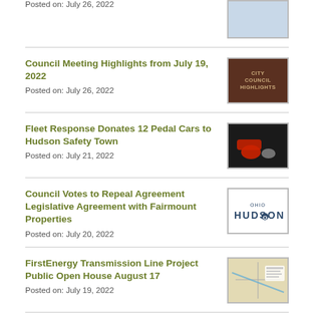Posted on: July 26, 2022
Council Meeting Highlights from July 19, 2022
Posted on: July 26, 2022
Fleet Response Donates 12 Pedal Cars to Hudson Safety Town
Posted on: July 21, 2022
Council Votes to Repeal Agreement Legislative Agreement with Fairmount Properties
Posted on: July 20, 2022
FirstEnergy Transmission Line Project Public Open House August 17
Posted on: July 19, 2022